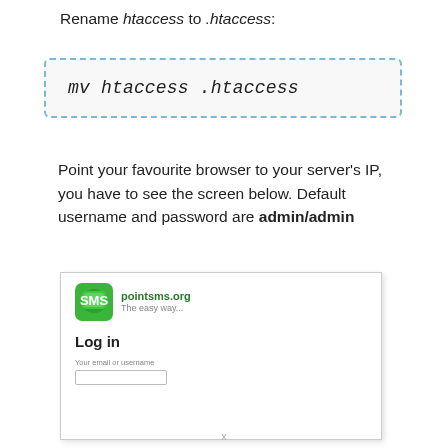Rename htaccess to .htaccess:
Point your favourite browser to your server's IP, you have to see the screen below. Default username and password are admin/admin
[Figure (screenshot): Screenshot of a web browser showing the pointsms.org login page with logo, 'Log in' heading, and a username/email input field.]